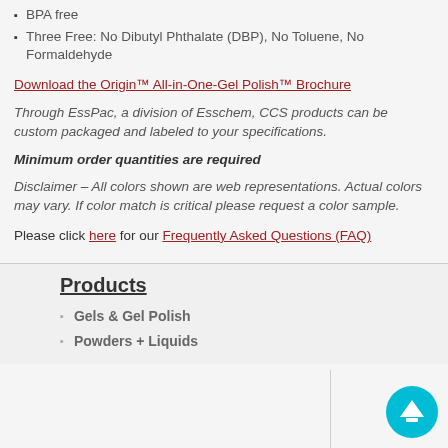BPA free
Three Free: No Dibutyl Phthalate (DBP), No Toluene, No Formaldehyde
Download the Origin™ All-in-One-Gel Polish™ Brochure
Through EssPac, a division of Esschem, CCS products can be custom packaged and labeled to your specifications.
Minimum order quantities are required
Disclaimer – All colors shown are web representations. Actual colors may vary. If color match is critical please request a color sample.
Please click here for our Frequently Asked Questions (FAQ)
Products
Gels & Gel Polish
Powders + Liquids